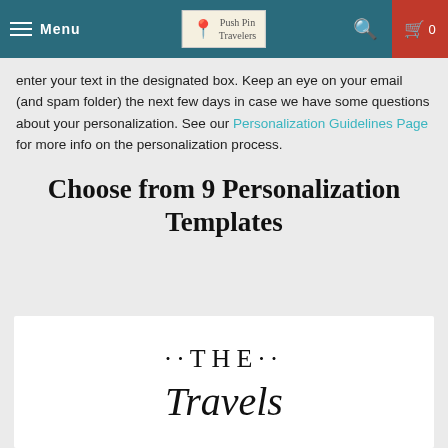Menu | [Logo: Push Pin Travelers] | [Search icon] | [Cart: 0]
enter your text in the designated box. Keep an eye on your email (and spam folder) the next few days in case we have some questions about your personalization. See our Personalization Guidelines Page for more info on the personalization process.
Choose from 9 Personalization Templates
[Figure (illustration): White card preview showing personalization template text: '··THE··' and 'Travels' in serif font]